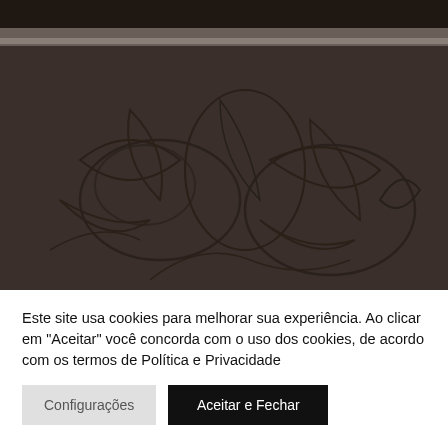[Figure (photo): Dark brown textured surface with embossed floral/leaf pattern. A lighter horizontal band runs across the upper portion of the image.]
Este site usa cookies para melhorar sua experiência. Ao clicar em "Aceitar" você concorda com o uso dos cookies, de acordo com os termos de Política e Privacidade
Configurações
Aceitar e Fechar